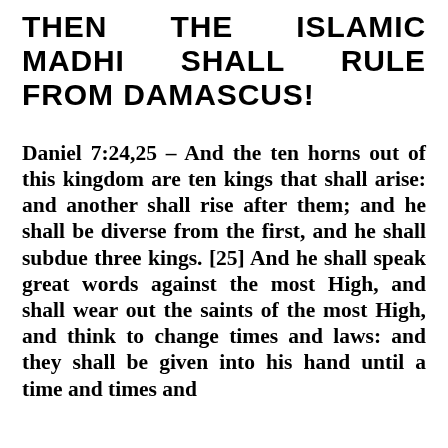THEN THE ISLAMIC MADHI SHALL RULE FROM DAMASCUS!
Daniel 7:24,25 – And the ten horns out of this kingdom are ten kings that shall arise: and another shall rise after them; and he shall be diverse from the first, and he shall subdue three kings. [25] And he shall speak great words against the most High, and shall wear out the saints of the most High, and think to change times and laws: and they shall be given into his hand until a time and times and